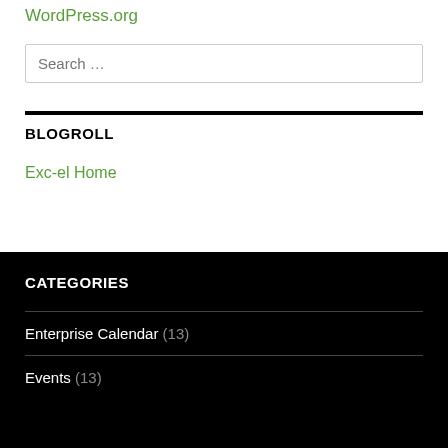WordPress.org
Search …
BLOGROLL
Exc-el Home
CATEGORIES
Enterprise Calendar (13)
Events (13)